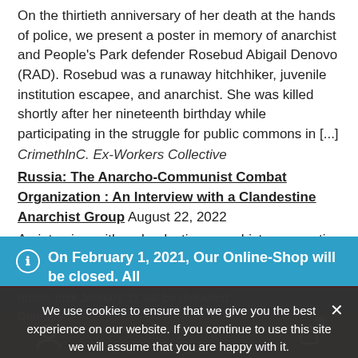On the thirtieth anniversary of her death at the hands of police, we present a poster in memory of anarchist and People's Park defender Rosebud Abigail Denovo (RAD). Rosebud was a runaway hitchhiker, juvenile institution escapee, and anarchist. She was killed shortly after her nineteenth birthday while participating in the struggle for public commons in [...]
CrimethlnC. Ex-Workers Collective
Russia: The Anarcho-Communist Combat Organization : An Interview with a Clandestine Anarchist Group August 22, 2022
An interview with a clandestine anarchist group active in Russia that publicizes direct action and maintains a fund to support anti-war sabotage.
On February 1, 2021, Our Online-Shop will be closed. All orders until January 31 will be delivered
Dismiss
We use cookies to ensure that we give you the best experience on our website. If you continue to use this site we will assume that you are happy with it.
Ok